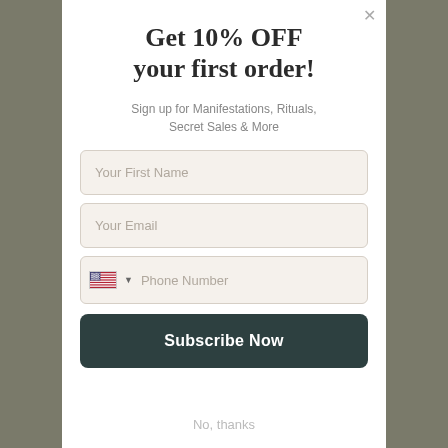Get 10% OFF your first order!
Sign up for Manifestations, Rituals, Secret Sales & More
Your First Name
Your Email
Phone Number
Subscribe Now
No, thanks